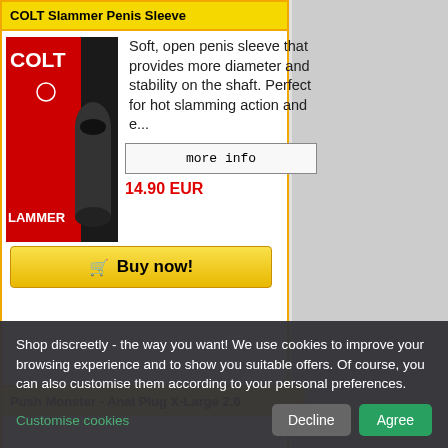COLT Slammer Penis Sleeve
[Figure (photo): Product photo of COLT Slammer Penis Sleeve showing packaging with red and black design and the black sleeve device]
Soft, open penis sleeve that provides more diameter and stability on the shaft. Perfect for hot slamming action and e...
more info
14.90 EUR
Buy now!
Push Monster - Anal Plug X-Large 2.0
Shop discreetly - the way you want! We use cookies to improve your browsing experience and to show you suitable offers. Of course, you can also customise them according to your personal preferences.
Customise cookies
Decline
Agree